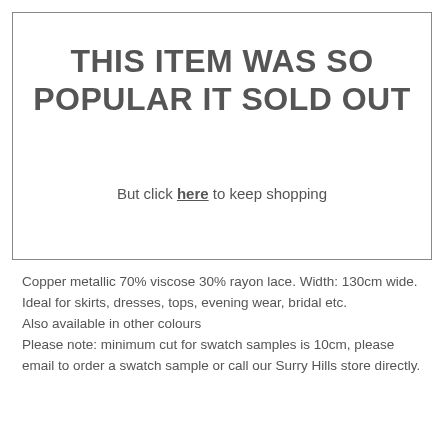THIS ITEM WAS SO POPULAR IT SOLD OUT
But click here to keep shopping
Copper metallic 70% viscose 30% rayon lace. Width: 130cm wide.
Ideal for skirts, dresses, tops, evening wear, bridal etc.
Also available in other colours
Please note: minimum cut for swatch samples is 10cm, please email to order a swatch sample or call our Surry Hills store directly.